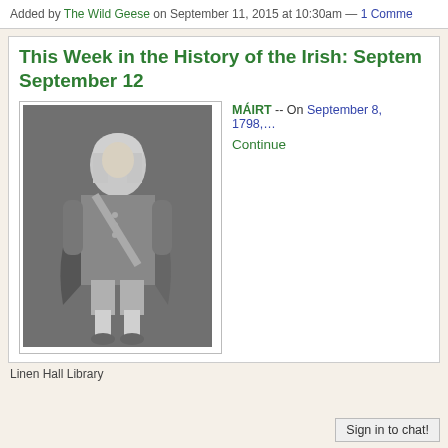Added by The Wild Geese on September 11, 2015 at 10:30am — 1 Comme
This Week in the History of the Irish: Septem September 12
[Figure (photo): Black and white engraving of a man in 18th century formal attire, standing in a posed portrait. He wears a decorated coat with military-style sash and knee breeches.]
MÁIRT -- On September 8, 1798,…
Continue
Linen Hall Library
Sign in to chat!